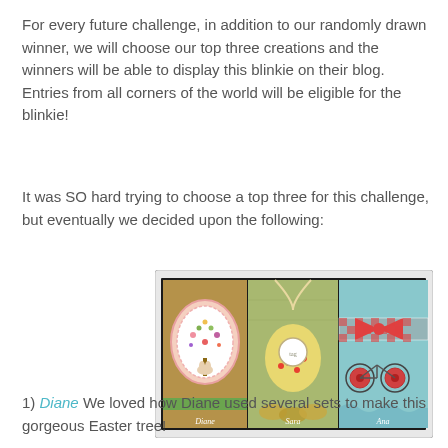For every future challenge, in addition to our randomly drawn winner, we will choose our top three creations and the winners will be able to display this blinkie on their blog. Entries from all corners of the world will be eligible for the blinkie!
It was SO hard trying to choose a top three for this challenge, but eventually we decided upon the following:
[Figure (photo): Three handmade greeting cards side by side: left card has a brown kraft background with a pink scalloped oval featuring an Easter tree with flowers and a bunny, labeled 'Diane'; middle card has a green/tan background with an egg-shaped tag with polka dots, labeled 'Sara'; right card has a light blue background with a red gingham ribbon bow and a bicycle made of buttons, labeled 'Ana'.]
1) Diane We loved how Diane used several sets to make this gorgeous Easter tree!